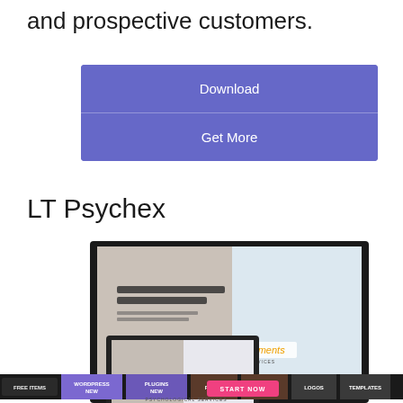and prospective customers.
[Figure (screenshot): Two blue buttons labeled 'Download' and 'Get More']
LT Psychex
[Figure (screenshot): Screenshot of LT Psychex WordPress theme displayed on desktop, tablet, and mobile devices, shown on an Envato Elements promotional page with navigation items: FREE ITEMS, WORDPRESS NEW, PLUGINS NEW, FONTS, PHOTOS, LOGOS, TEMPLATES, AND MORE!]